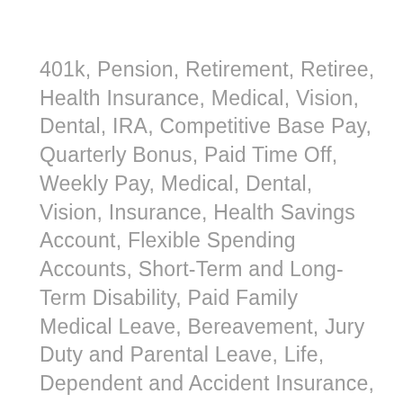401k, Pension, Retirement, Retiree, Health Insurance, Medical, Vision, Dental, IRA, Competitive Base Pay, Quarterly Bonus, Paid Time Off, Weekly Pay, Medical, Dental, Vision, Insurance, Health Savings Account, Flexible Spending Accounts, Short-Term and Long-Term Disability, Paid Family Medical Leave, Bereavement, Jury Duty and Parental Leave, Life, Dependent and Accident Insurance, Critical Illness Insurance, Savings Plan 401(k), Company Paid Retirement Benefit, Employee Stock Purchase Plan, Paid Holidays, Flexible Spending Accounts (FSAs), Health Savings Account (HSA), Time Off and Flexible Days, Group Legal Plan, Group Home Auto Insurance, Pet Insurance, Employee Discounts, Adoption